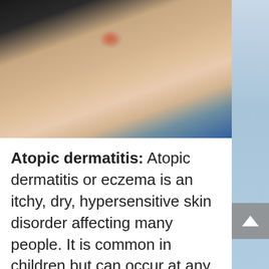[Figure (photo): Close-up photograph of skin showing atopic dermatitis/eczema — a small red, inflamed rash patch visible on light-colored skin, with a blue fabric visible at the right edge.]
Atopic dermatitis: Atopic dermatitis or eczema is an itchy, dry, hypersensitive skin disorder affecting many people. It is common in children but can occur at any age. It is not infectious or contagious. The exact cause of atopic eczema is unknown but it is thought it may be hereditary. The rash may appear red, wet and weepy or dry, thickened and scaly and scratching often aggravates it. The skin thickens and becomes darker. It is a chronic condition and